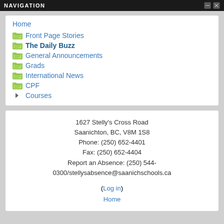NAVIGATION
Home
Front Page Stories
The Daily Buzz
General Announcements
Grads
International News
CPF
Courses
1627 Stelly's Cross Road
Saanichton, BC, V8M 1S8
Phone: (250) 652-4401
Fax: (250) 652-4404
Report an Absence: (250) 544-0300/stellysabsence@saanichschools.ca
(Log in)
Home